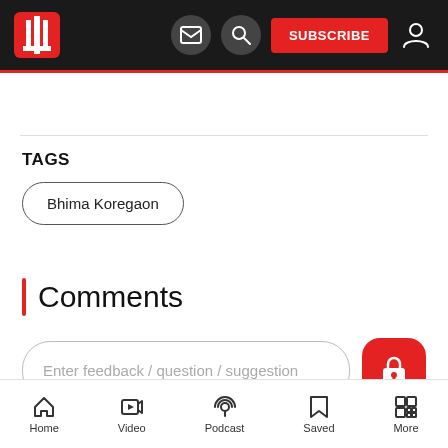[Figure (screenshot): Mobile app top navigation bar with red logo, envelope icon, search icon, red SUBSCRIBE button, and user icon on dark background]
TAGS
Bhima Koregaon
Comments
Enter feedback / question / suggestion
Home  Video  Podcast  Saved  More